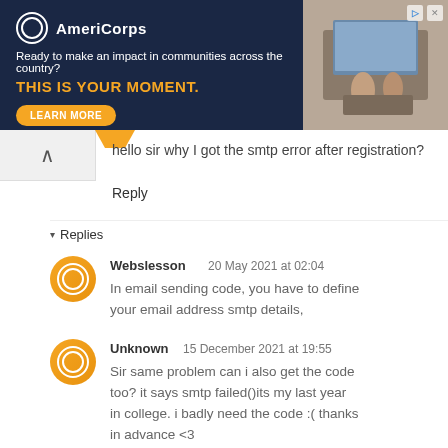[Figure (illustration): AmeriCorps advertisement banner with dark navy background. Logo on left with text 'Ready to make an impact in communities across the country? THIS IS YOUR MOMENT.' and LEARN MORE button. Photo of people working on computers on right.]
hello sir why I got the smtp error after registration?
Reply
▾ Replies
Webslesson   20 May 2021 at 02:04
In email sending code, you have to define your email address smtp details,
Unknown   15 December 2021 at 19:55
Sir same problem can i also get the code too? it says smtp failed()its my last year in college. i badly need the code :( thanks in advance <3